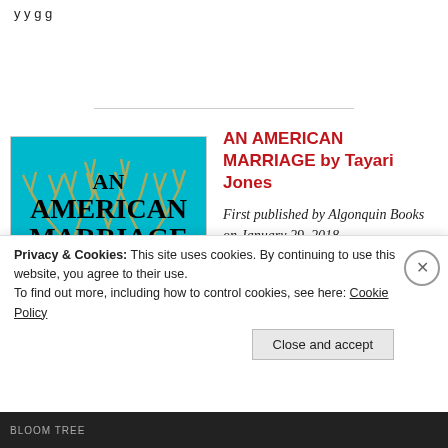y y g g
[Figure (illustration): Book cover of 'An American Marriage' by Tayari Jones. Teal/cyan background with a golden tree with bare branches. Text on cover: AN AMERICAN MARRIAGE, A NOVEL, TAYARI]
AN AMERICAN MARRIAGE by Tayari Jones
First published by Algonquin Books on January 29, 2018
Winner of the Women’s Prize for Fiction (2018)
Privacy & Cookies: This site uses cookies. By continuing to use this website, you agree to their use.
To find out more, including how to control cookies, see here: Cookie Policy
Close and accept